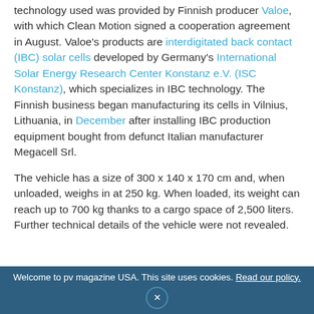technology used was provided by Finnish producer Valoe, with which Clean Motion signed a cooperation agreement in August. Valoe's products are interdigitated back contact (IBC) solar cells developed by Germany's International Solar Energy Research Center Konstanz e.V. (ISC Konstanz), which specializes in IBC technology. The Finnish business began manufacturing its cells in Vilnius, Lithuania, in December after installing IBC production equipment bought from defunct Italian manufacturer Megacell Srl.
The vehicle has a size of 300 x 140 x 170 cm and, when unloaded, weighs in at 250 kg. When loaded, its weight can reach up to 700 kg thanks to a cargo space of 2,500 liters. Further technical details of the vehicle were not revealed.
Welcome to pv magazine USA. This site uses cookies. Read our policy.